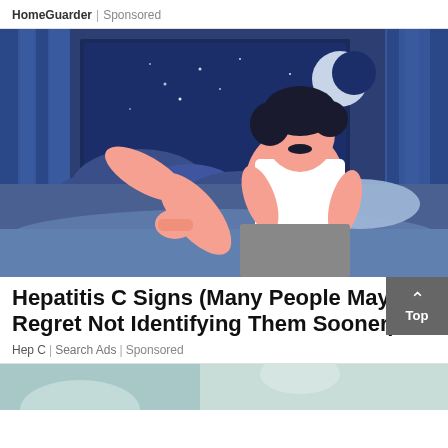HomeGuarder | Sponsored
[Figure (illustration): Illustrated image of a man sitting up in bed at night, unable to sleep. Background shows a window with a crescent moon and clouds in a dark blue night sky. Blue curtains frame the window. The man wears a white tank top and grey shorts, and appears restless.]
Hepatitis C Signs (Many People May Regret Not Identifying Them Sooner)
Hep C | Search Ads | Sponsored
[Figure (photo): Partial view of a medical photo at the bottom of the page, showing what appears to be a medical professional or patient.]